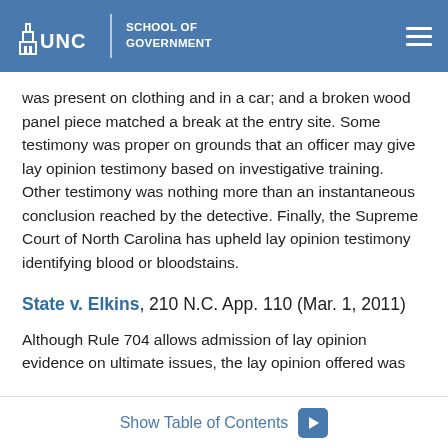UNC School of Government
was present on clothing and in a car; and a broken wood panel piece matched a break at the entry site. Some testimony was proper on grounds that an officer may give lay opinion testimony based on investigative training. Other testimony was nothing more than an instantaneous conclusion reached by the detective. Finally, the Supreme Court of North Carolina has upheld lay opinion testimony identifying blood or bloodstains.
State v. Elkins, 210 N.C. App. 110 (Mar. 1, 2011)
Although Rule 704 allows admission of lay opinion evidence on ultimate issues, the lay opinion offered was
Show Table of Contents